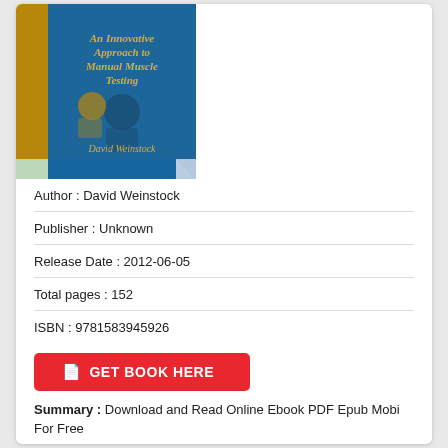[Figure (illustration): Book cover showing 'An Innovative Approach to Manual Muscle Testing' by David Weinstock, with a teal/blue background and gold text, showing a person being examined.]
Author : David Weinstock
Publisher : Unknown
Release Date : 2012-06-05
Total pages : 152
ISBN : 9781583945926
GET BOOK HERE
Summary : Download and Read Online Ebook PDF Epub Mobi For Free